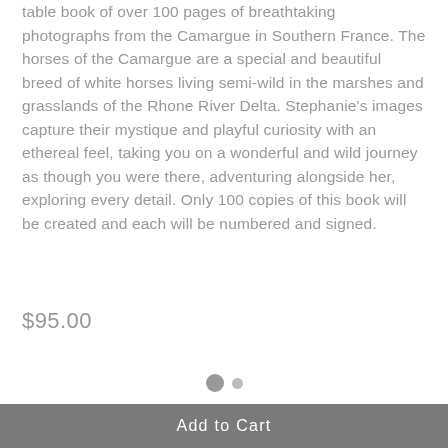table book of over 100 pages of breathtaking photographs from the Camargue in Southern France. The horses of the Camargue are a special and beautiful breed of white horses living semi-wild in the marshes and grasslands of the Rhone River Delta. Stephanie's images capture their mystique and playful curiosity with an ethereal feel, taking you on a wonderful and wild journey as though you were there, adventuring alongside her, exploring every detail. Only 100 copies of this book will be created and each will be numbered and signed.
$95.00
[Figure (other): Two pagination dots: one larger dark gray circle and one smaller lighter gray circle, indicating a carousel or slideshow position indicator.]
Add to Cart